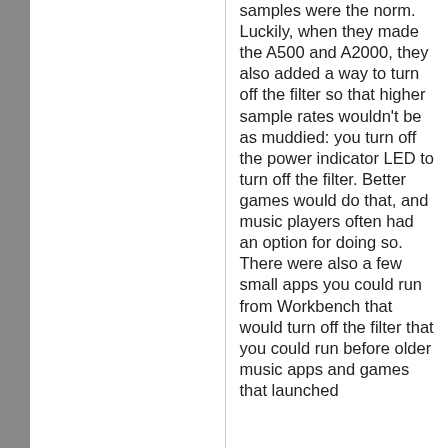samples were the norm. Luckily, when they made the A500 and A2000, they also added a way to turn off the filter so that higher sample rates wouldn't be as muddied: you turn off the power indicator LED to turn off the filter. Better games would do that, and music players often had an option for doing so. There were also a few small apps you could run from Workbench that would turn off the filter that you could run before older music apps and games that launched